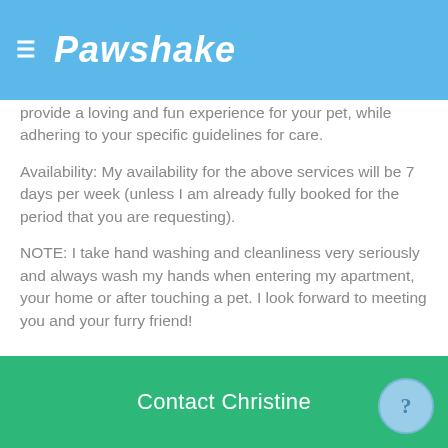Pawshake
provide a loving and fun experience for your pet, while adhering to your specific guidelines for care.
Availability: My availability for the above services will be 7 days per week (unless I am already fully booked for the period that you are requesting).
NOTE: I take hand washing and cleanliness very seriously and always wash my hands when entering my apartment, your home or after touching a pet. I look forward to meeting you and your furry friend!
Christine's services
At the sitter's home
Contact Christine